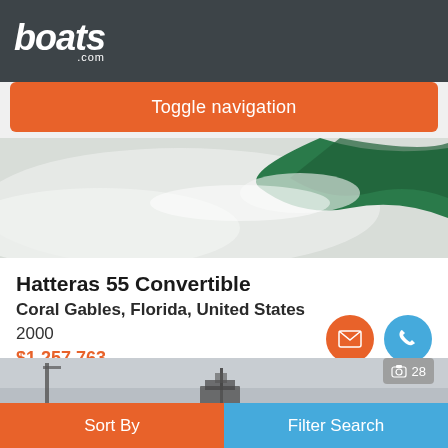boats.com
Toggle navigation
[Figure (photo): Ocean wave with white foam and green water, boat hero image]
Hatteras 55 Convertible
Coral Gables, Florida, United States
2000
$1,257,763
Seller Miami Maritime Group
[Figure (photo): Second boat listing thumbnail, gray sky background with boat mast visible, photo count badge showing 28]
Sort By
Filter Search